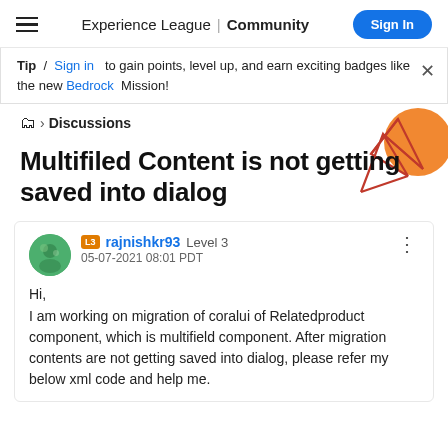Experience League | Community  Sign In
Tip / Sign in to gain points, level up, and earn exciting badges like the new Bedrock Mission!
Discussions
Multifiled Content is not getting saved into dialog
rajnishkr93 Level 3
05-07-2021 08:01 PDT
Hi,
I am working on migration of coralui of Relatedproduct component, which is multifield component. After migration contents are not getting saved into dialog, please refer my below xml code and help me.